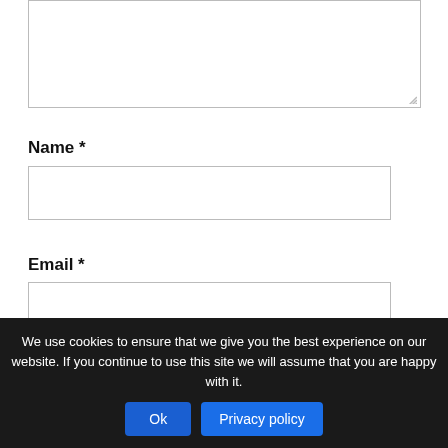[Figure (screenshot): A textarea input box with a resize handle in the bottom-right corner]
Name *
[Figure (screenshot): An empty text input box for Name field]
Email *
[Figure (screenshot): An empty text input box for Email field]
Website
[Figure (screenshot): A partially visible empty text input box for Website field]
We use cookies to ensure that we give you the best experience on our website. If you continue to use this site we will assume that you are happy with it.
Ok
Privacy policy